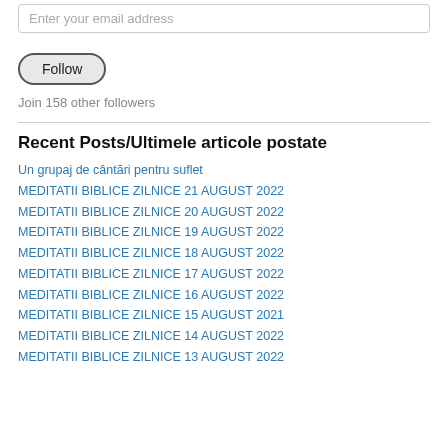Enter your email address
Follow
Join 158 other followers
Recent Posts/Ultimele articole postate
Un grupaj de cântări pentru suflet
MEDITATII BIBLICE ZILNICE 21 AUGUST 2022
MEDITATII BIBLICE ZILNICE 20 AUGUST 2022
MEDITATII BIBLICE ZILNICE 19 AUGUST 2022
MEDITATII BIBLICE ZILNICE 18 AUGUST 2022
MEDITATII BIBLICE ZILNICE 17 AUGUST 2022
MEDITATII BIBLICE ZILNICE 16 AUGUST 2022
MEDITATII BIBLICE ZILNICE 15 AUGUST 2021
MEDITATII BIBLICE ZILNICE 14 AUGUST 2022
MEDITATII BIBLICE ZILNICE 13 AUGUST 2022